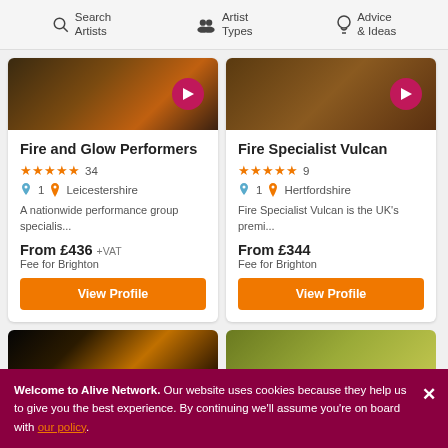Search Artists | Artist Types | Advice & Ideas
[Figure (screenshot): Card for Fire and Glow Performers with dark fire background image and pink play button]
Fire and Glow Performers
★★★★★ 34
1  Leicestershire
A nationwide performance group specialis...
From £436 +VAT
Fee for Brighton
View Profile
[Figure (screenshot): Card for Fire Specialist Vulcan with dark wood background image and pink play button]
Fire Specialist Vulcan
★★★★★ 9
1  Hertfordshire
Fire Specialist Vulcan is the UK's premi...
From £344
Fee for Brighton
View Profile
[Figure (photo): Fire performer with flame against black background]
[Figure (photo): Performer in ornate costume against olive/yellow background]
Welcome to Alive Network. Our website uses cookies because they help us to give you the best experience. By continuing we'll assume you're on board with our policy.